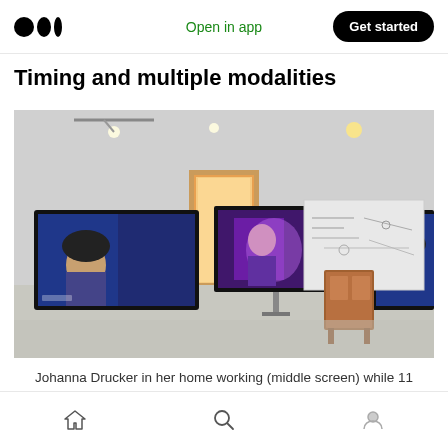Open in app | Get started
Timing and multiple modalities
[Figure (photo): Room with multiple monitors/screens on walls showing video feeds; middle screen shows a person working from home (Johanna Drucker), whiteboard with notes on the right wall, doorway visible in the background.]
Johanna Drucker in her home working (middle screen) while 11 copies of herself delivered a lecture on the making of arguments.
Home | Search | Profile